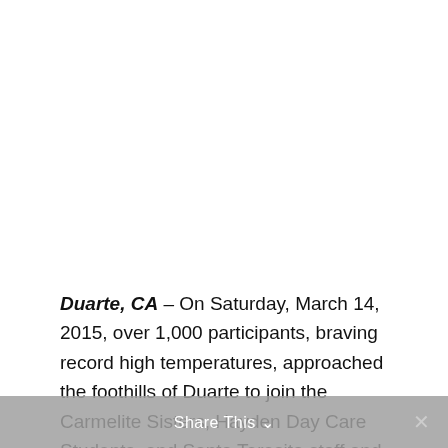Duarte, CA – On Saturday, March 14, 2015, over 1,000 participants, braving record high temperatures, approached the foothills of Duarte to join the Carmelite Sisters, Hayden Day Care Students, and Santa Teresita staff and volunteers for the 7th Annual Hayden 5k Run, Family Walk & Roll
Share This ∨